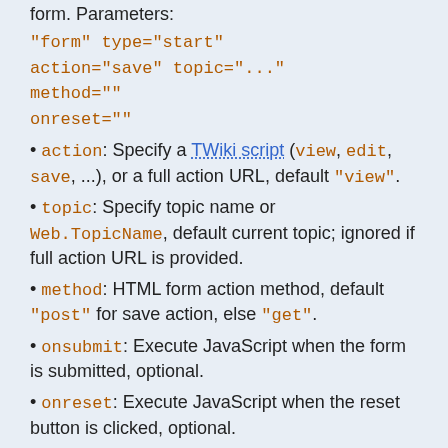form. Parameters:
"form" type="start" action="save" topic="..." method="" onsubmit="" onreset=""
action: Specify a TWiki script (view, edit, save, ...), or a full action URL, default "view".
topic: Specify topic name or Web.TopicName, default current topic; ignored if full action URL is provided.
method: HTML form action method, default "post" for save action, else "get".
onsubmit: Execute JavaScript when the form is submitted, optional.
onreset: Execute JavaScript when the reset button is clicked, optional.